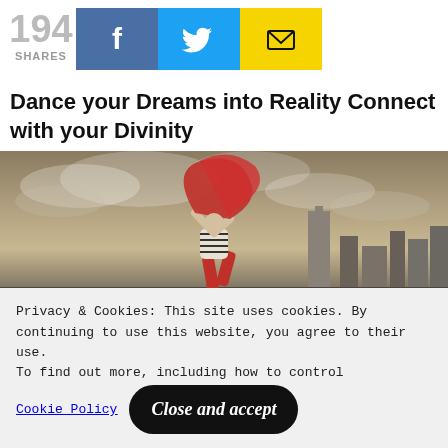194 SHARES
[Figure (infographic): Social share buttons: Facebook (blue), Twitter (cyan), Email (yellow)]
Dance your Dreams into Reality Connect with your Divinity
[Figure (photo): Person dancing on a rooftop or road with a red cloth/fabric flowing above their head, striped top and red pants, city skyline in the background under dramatic cloudy sky]
Privacy & Cookies: This site uses cookies. By continuing to use this website, you agree to their use.
To find out more, including how to control Cookie Policy
Close and accept